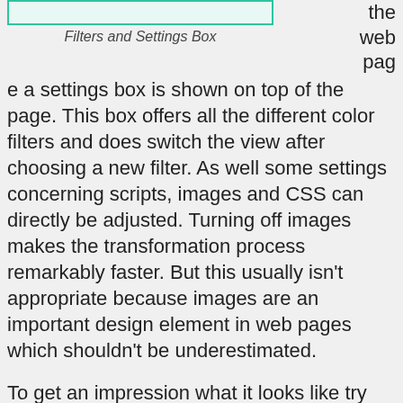[Figure (screenshot): Screenshot of Filters and Settings Box interface element with teal/green border]
Filters and Settings Box
the web page a settings box is shown on top of the page. This box offers all the different color filters and does switch the view after choosing a new filter. As well some settings concerning scripts, images and CSS can directly be adjusted. Turning off images makes the transformation process remarkably faster. But this usually isn't appropriate because images are an important design element in web pages which shouldn't be underestimated.
To get an impression what it looks like try one of these direct links:
Protan view of Colblindor
Deuteranopia view of Colblindor